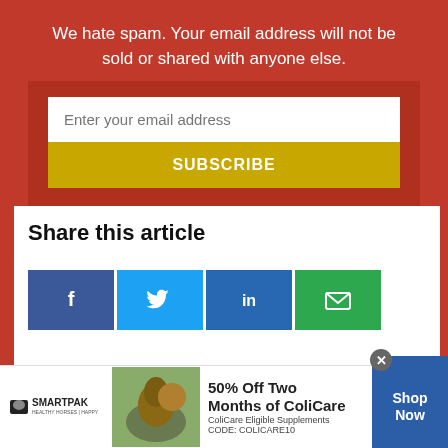We hate spam. Your email address will not be sold or shared with anyone else.
[Figure (screenshot): Email subscription form with a white text input field placeholder 'Enter your email address' and a yellow SUBSCRIBE button]
Share this article
[Figure (infographic): Social sharing buttons: Facebook (blue), Twitter (light blue), LinkedIn (dark blue), Email (green)]
[Figure (infographic): SmartPak advertisement banner: logo, horse photo, '50% Off Two Months of ColiCare, ColiCare Eligible Supplements, CODE: COLICARE10', Shop Now button]